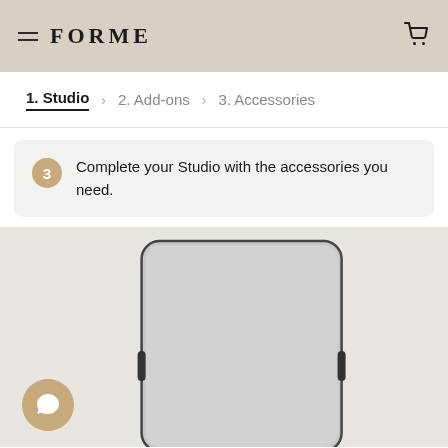FORME
1. Studio  >  2. Add-ons  >  3. Accessories
Complete your Studio with the accessories you need.
[Figure (photo): A light grey tablet/mirror device with dark grey frame and two side handles, displayed on a beige/neutral background. A circular chat widget with a speech bubble icon appears in the bottom-left corner.]